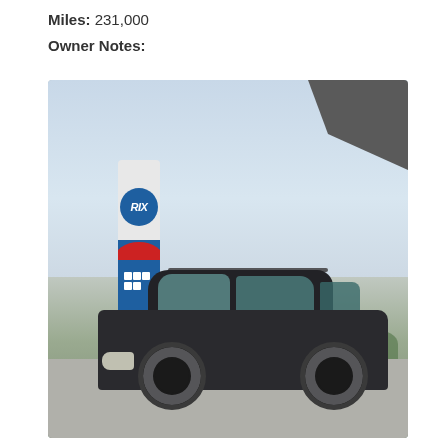Miles: 231,000
Owner Notes:
[Figure (photo): A dark grey BMW 3 Series E46 estate/touring car parked at a RIX fuel station forecourt. The RIX branded totem pole sign is visible in the background on the left side. The car is photographed from a front three-quarter angle showing the roof rack rails. The sky is overcast and light grey. Trees are visible in the far background on the right. A canopy/shelter is partially visible in the top right corner.]